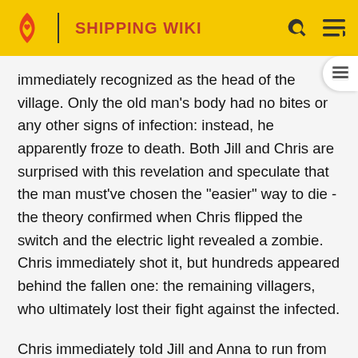SHIPPING WIKI
immediately recognized as the head of the village. Only the old man's body had no bites or any other signs of infection: instead, he apparently froze to death. Both Jill and Chris are surprised with this revelation and speculate that the man must've chosen the "easier" way to die - the theory confirmed when Chris flipped the switch and the electric light revealed a zombie. Chris immediately shot it, but hundreds appeared behind the fallen one: the remaining villagers, who ultimately lost their fight against the infected.
Chris immediately told Jill and Anna to run from the silo while he provides cover, and started to shoot at the infected, but when Jill tried to open the front door it